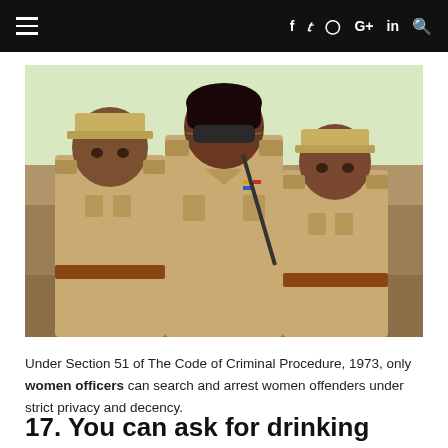≡  f  𝕏  ○  G+  in  🔍
[Figure (photo): Three police officers in khaki uniforms standing outdoors. A woman wearing sunglasses stands in the center foreground, with two male officers behind her. Rocky terrain and sparse vegetation visible in background.]
Under Section 51 of The Code of Criminal Procedure, 1973, only women officers can search and arrest women offenders under strict privacy and decency.
17. You can ask for drinking water